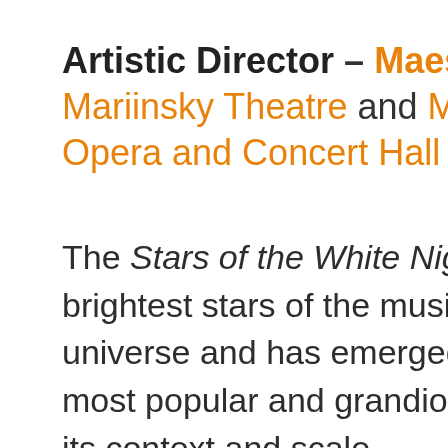Artistic Director – Maestro Valer... Mariinsky Theatre and Mariinsky T... Opera and Concert Hall
The Stars of the White Nights is o... brightest stars of the music and th... universe and has emerged to be o... most popular and grandiose music... its context and scale.